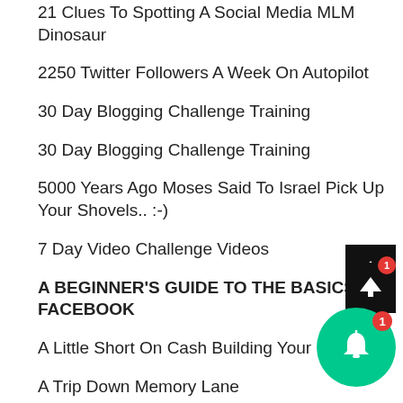21 Clues To Spotting A Social Media MLM Dinosaur
2250 Twitter Followers A Week On Autopilot
30 Day Blogging Challenge Training
30 Day Blogging Challenge Training
5000 Years Ago Moses Said To Israel Pick Up Your Shovels.. :-)
7 Day Video Challenge Videos
A BEGINNER'S GUIDE TO THE BASICS OF FACEBOOK
A Little Short On Cash Building Your Busin…
A Trip Down Memory Lane